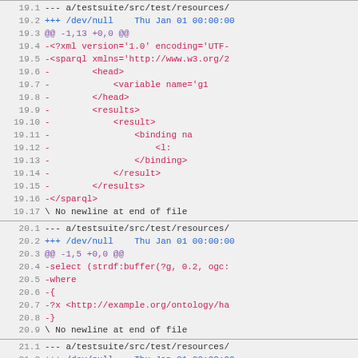Diff output blocks 19, 20, 21 showing removed lines from test suite resources
19.1 --- a/testsuite/src/test/resources/
19.2 +++ /dev/null    Thu Jan 01 00:00:00
19.3 @@ -1,13 +0,0 @@
19.4 -<?xml version='1.0' encoding='UTF-
19.5 -<sparql xmlns='http://www.w3.org/2
19.6 -        <head>
19.7 -            <variable name='g1
19.8 -        </head>
19.9 -        <results>
19.10 -            <result>
19.11 -                <binding na
19.12 -                    <l:
19.13 -                </binding>
19.14 -            </result>
19.15 -        </results>
19.16 -</sparql>
19.17 \ No newline at end of file
20.1 --- a/testsuite/src/test/resources/
20.2 +++ /dev/null    Thu Jan 01 00:00:00
20.3 @@ -1,5 +0,0 @@
20.4 -select (strdf:buffer(?g, 0.2, ogc:
20.5 -where
20.6 -{
20.7 -?x <http://example.org/ontology/ha
20.8 -}
20.9 \ No newline at end of file
21.1 --- a/testsuite/src/test/resources/
21.2 +++ /dev/null    Thu Jan 01 00:00:00
21.3 @@ -1,24 +0,0 @@
21.4 -<?xml version='1.0' encoding='UTF-
21.5 -<sparql xmlns='http://www.w3.org/2